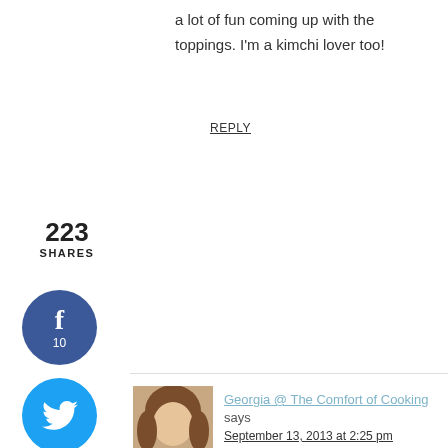a lot of fun coming up with the toppings. I'm a kimchi lover too!
REPLY
223
SHARES
[Figure (infographic): Social share buttons: Facebook (f, 10), Twitter (bird icon), Pinterest (p, 213), Yummly (yum)]
[Figure (photo): User avatar photo of Georgia @ The Comfort of Cooking, a young woman with brown hair]
Georgia @ The Comfort of Cooking says
September 13, 2013 at 2:25 pm
I have a million and one excuses to make these for upcoming parties, and it is SO happening. Amazing sliders, Jeanette! My friends will love these!
REPLY